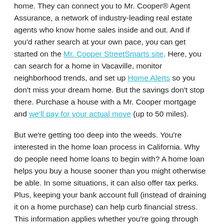home. They can connect you to Mr. Cooper® Agent Assurance, a network of industry-leading real estate agents who know home sales inside and out. And if you'd rather search at your own pace, you can get started on the Mr. Cooper StreetSmarts site. Here, you can search for a home in Vacaville, monitor neighborhood trends, and set up Home Alerts so you don't miss your dream home. But the savings don't stop there. Purchase a house with a Mr. Cooper mortgage and we'll pay for your actual move (up to 50 miles).
But we're getting too deep into the weeds. You're interested in the home loan process in California. Why do people need home loans to begin with? A home loan helps you buy a house sooner than you might otherwise be able. In some situations, it can also offer tax perks. Plus, keeping your bank account full (instead of draining it on a home purchase) can help curb financial stress. This information applies whether you're going through the home loan preparation process in Vacaville or anywhere else.   How to Apply for a Home Loan in Vacaville, CA   Steps to Complete the Mortgage Process in Vacaville, CA How to Apply for a Mortgage in Vacaville, CA
The Vacaville home market is a competitive one, and you will